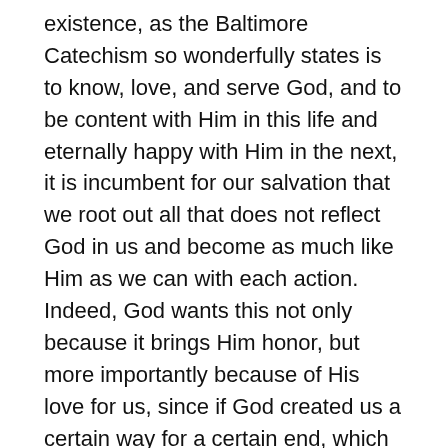existence, as the Baltimore Catechism so wonderfully states is to know, love, and serve God, and to be content with Him in this life and eternally happy with Him in the next, it is incumbent for our salvation that we root out all that does not reflect God in us and become as much like Him as we can with each action. Indeed, God wants this not only because it brings Him honor, but more importantly because of His love for us, since if God created us a certain way for a certain end, which must be love, than the only way we can truly love God and ultimately be happy with ourselves and Him is to become the men we were created to be. Sin distorts and destroys that perfection, and it sets up obstacles to salvation that if not managed and removed can cast a man into hell.